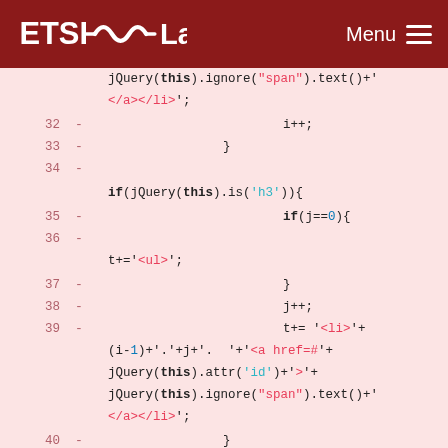ETSI Labs   Menu
[Figure (screenshot): Code diff view showing JavaScript lines 32-44 with syntax highlighting on a pink/light-red background. Lines show jQuery code for building a table of contents with HTML string concatenation.]